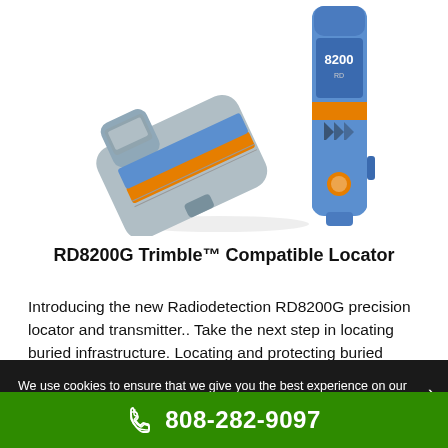[Figure (photo): Product photo of Radiodetection RD8200G locator (handheld unit, blue/gray) and transmitter unit shown side by side on white background.]
RD8200G Trimble™ Compatible Locator
Introducing the new Radiodetection RD8200G precision locator and transmitter.. Take the next step in locating buried infrastructure. Locating and protecting buried infrastructure is a key operation for many industries.
We use cookies to ensure that we give you the best experience on our website. If you continue to use this site we will assume that you
808-282-9097